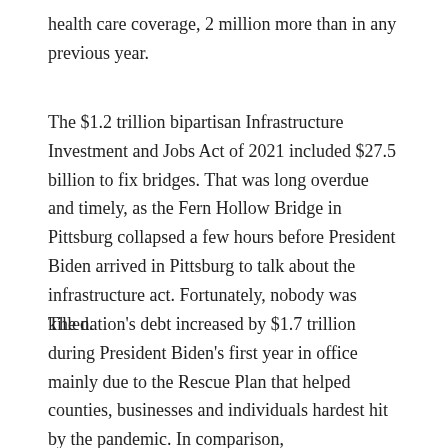health care coverage, 2 million more than in any previous year.
The $1.2 trillion bipartisan Infrastructure Investment and Jobs Act of 2021 included $27.5 billion to fix bridges. That was long overdue and timely, as the Fern Hollow Bridge in Pittsburg collapsed a few hours before President Biden arrived in Pittsburg to talk about the infrastructure act. Fortunately, nobody was killed.
The nation's debt increased by $1.7 trillion during President Biden's first year in office mainly due to the Rescue Plan that helped counties, businesses and individuals hardest hit by the pandemic. In comparison,